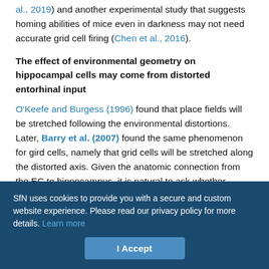al., 2019) and another experimental study that suggests homing abilities of mice even in darkness may not need accurate grid cell firing (Chen et al., 2016).
The effect of environmental geometry on hippocampal cells may come from distorted entorhinal input
O'Keefe and Burgess (1996) found that place fields will be stretched following the environmental distortions. Later, Barry et al. (2007) found the same phenomenon for gird cells, namely that grid cells will be stretched along the distorted axis. Given the anatomic connection from the EC to hippocampus, it is natural to ask whether stretched place fields caused by the environment manipulation originate from stretched gird cells caused by the environment
SfN uses cookies to provide you with a secure and custom website experience. Please read our privacy policy for more details. Learn more